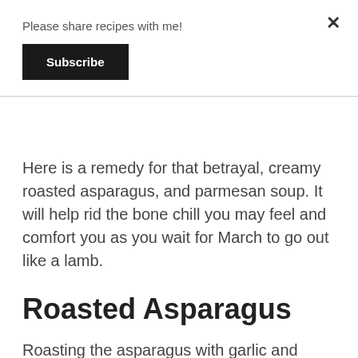Please share recipes with me!
Subscribe
Here is a remedy for that betrayal, creamy roasted asparagus, and parmesan soup. It will help rid the bone chill you may feel and comfort you as you wait for March to go out like a lamb.
Roasted Asparagus
Roasting the asparagus with garlic and shallots helps to give a depth of flavor to the soup and elicits some sweetness and